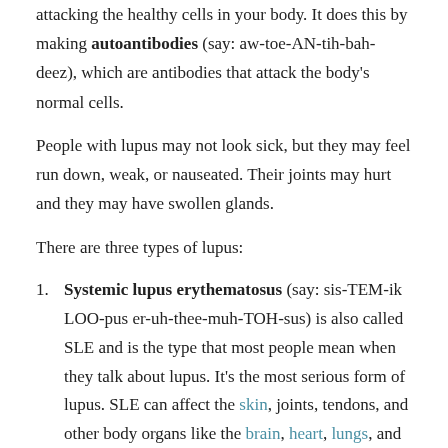attacking the healthy cells in your body. It does this by making autoantibodies (say: aw-toe-AN-tih-bah-deez), which are antibodies that attack the body’s normal cells.
People with lupus may not look sick, but they may feel run down, weak, or nauseated. Their joints may hurt and they may have swollen glands.
There are three types of lupus:
Systemic lupus erythematosus (say: sis-TEM-ik LOO-pus er-uh-thee-muh-TOH-sus) is also called SLE and is the type that most people mean when they talk about lupus. It’s the most serious form of lupus. SLE can affect the skin, joints, tendons, and other body organs like the brain, heart, lungs, and kidneys.